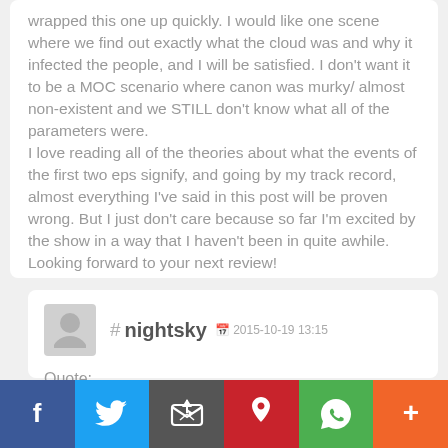wrapped this one up quickly. I would like one scene where we find out exactly what the cloud was and why it infected the people, and I will be satisfied. I don't want it to be a MOC scenario where canon was murky/ almost non-existent and we STILL don't know what all of the parameters were.
I love reading all of the theories about what the events of the first two eps signify, and going by my track record, almost everything I've said in this post will be proven wrong. But I just don't care because so far I'm excited by the show in a way that I haven't been in quite awhile. Looking forward to your next review!
# nightsky  2015-10-19 13:15
Quote: